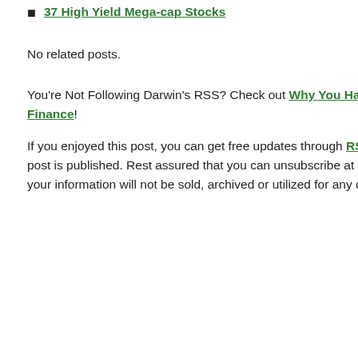37 High Yield Mega-cap Stocks
No related posts.
You're Not Following Darwin's RSS? Check out Why You Have to Subscribe to Darwin's Finance!
If you enjoyed this post, you can get free updates through RSS Feed or via post is published. Rest assured that you can unsubscribe at any time via th your information will not be sold, archived or utilized for any other "nefar